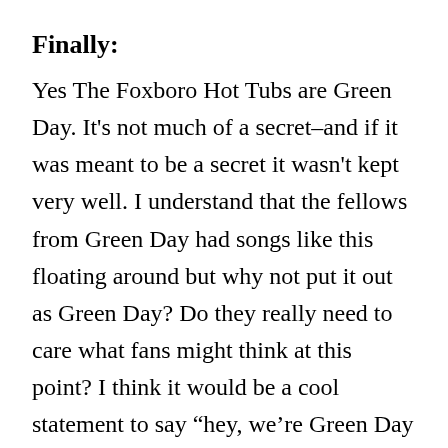Finally:
Yes The Foxboro Hot Tubs are Green Day. It's not much of a secret–and if it was meant to be a secret it wasn't kept very well. I understand that the fellows from Green Day had songs like this floating around but why not put it out as Green Day? Do they really need to care what fans might think at this point? I think it would be a cool statement to say “hey, we’re Green Day and if we want to do something different either enjoy or f**k